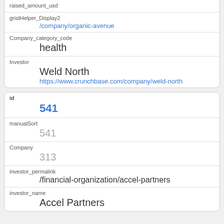raised_amount_usd
gristHelper_Display2
/company/organic-avenue
Company_category_code
health
Investor
Weld North
https://www.crunchbase.com/company/weld-north
id
541
manualSort
541
Company
313
investor_permalink
/financial-organization/accel-partners
investor_name
Accel Partners